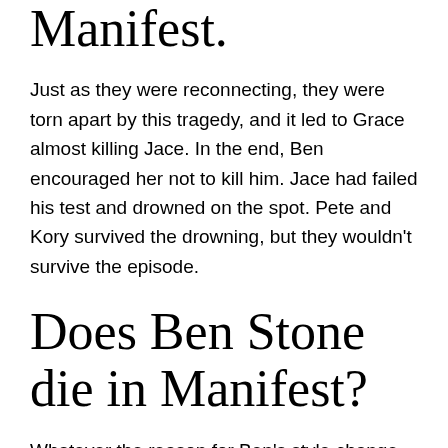Manifest.
Just as they were reconnecting, they were torn apart by this tragedy, and it led to Grace almost killing Jace. In the end, Ben encouraged her not to kill him. Jace had failed his test and drowned on the spot. Pete and Kory survived the drowning, but they wouldn't survive the episode.
Does Ben Stone die in Manifest?
Whatever the reason for Ben's style change may be, Dallas said the character struggles with his wife's death. A fan said they felt heartbroken over